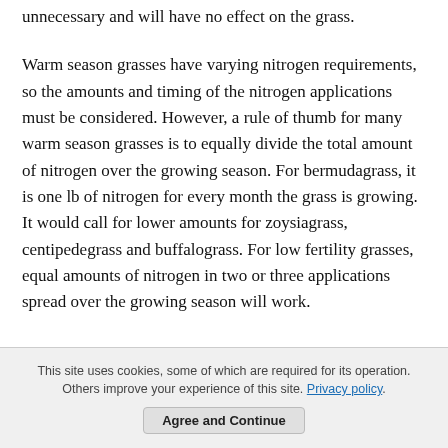unnecessary and will have no effect on the grass.
Warm season grasses have varying nitrogen requirements, so the amounts and timing of the nitrogen applications must be considered. However, a rule of thumb for many warm season grasses is to equally divide the total amount of nitrogen over the growing season. For bermudagrass, it is one lb of nitrogen for every month the grass is growing. It would call for lower amounts for zoysiagrass, centipedegrass and buffalograss. For low fertility grasses, equal amounts of nitrogen in two or three applications spread over the growing season will work.
This site uses cookies, some of which are required for its operation. Others improve your experience of this site. Privacy policy.
Agree and Continue